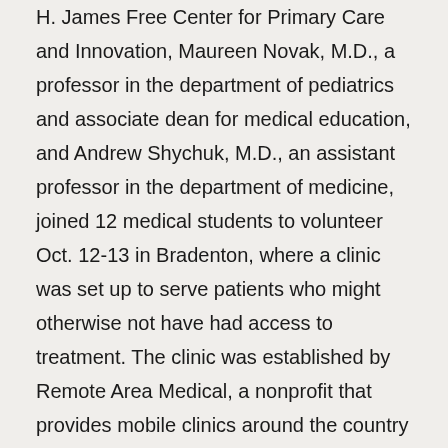H. James Free Center for Primary Care and Innovation, Maureen Novak, M.D., a professor in the department of pediatrics and associate dean for medical education, and Andrew Shychuk, M.D., an assistant professor in the department of medicine, joined 12 medical students to volunteer Oct. 12-13 in Bradenton, where a clinic was set up to serve patients who might otherwise not have had access to treatment. The clinic was established by Remote Area Medical, a nonprofit that provides mobile clinics around the country to offer free dental, vision and medical services to underserved and uninsured people.
The UF group worked alongside students from other institutions to treat patients ranging in age from 8 months old to 80 years old for conditions including pericarditis, COPD and dental abscesses. While the clinic — located at Manatee Technical College — did not open until 6 a.m. on